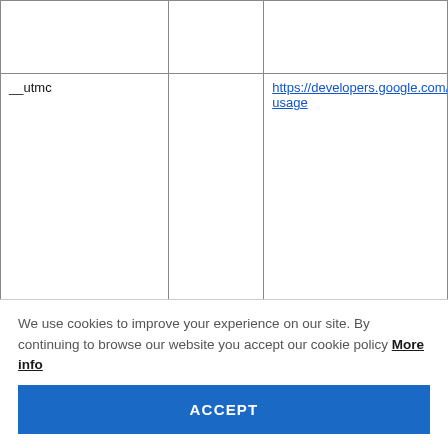|  |  |  |
| __utmc |  | https://developers.google.com/ana usage |
| __utmz |  | https://developers.google.com/ana |
We use cookies to improve your experience on our site. By continuing to browse our website you accept our cookie policy More info